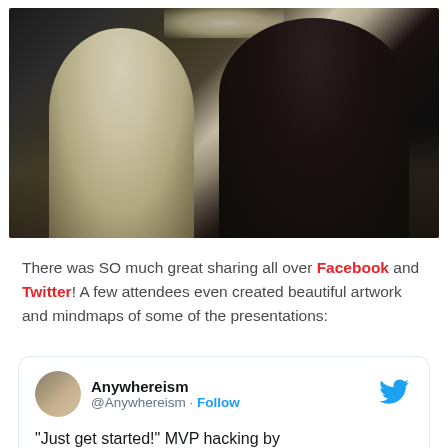[Figure (photo): Two people seen from behind, one in white shirt and one in black shirt, standing in front of a large crowd at an event, with overhead lighting]
There was SO much great sharing all over Facebook and Twitter! A few attendees even created beautiful artwork and mindmaps of some of the presentations:
[Figure (screenshot): Embedded tweet from @Anywhereism with text: "Just get started!" MVP hacking by, with Follow button and Twitter bird logo]